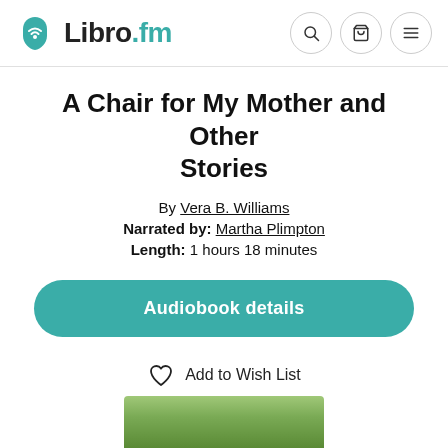Libro.fm
A Chair for My Mother and Other Stories
By Vera B. Williams
Narrated by: Martha Plimpton
Length: 1 hours 18 minutes
Audiobook details
Add to Wish List